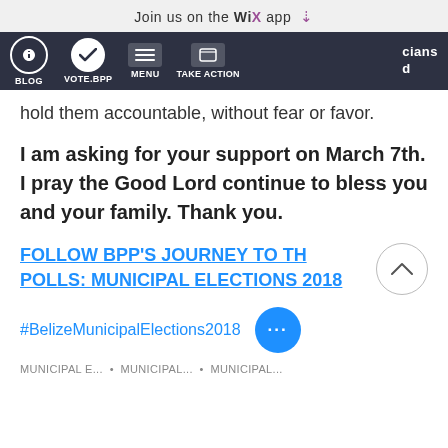Join us on the WiX app
[Figure (screenshot): Website navigation bar with dark background showing icons for BLOG, VOTE.BPP, MENU, TAKE ACTION, and partial text 'cians d']
hold them accountable, without fear or favor.
I am asking for your support on March 7th. I pray the Good Lord continue to bless you and your family. Thank you.
FOLLOW BPP'S JOURNEY TO THE POLLS: MUNICIPAL ELECTIONS 2018
#BelizeMunicipalElections2018
MUNICIPAL E... • MUNICIPAL... • MUNICIPAL...